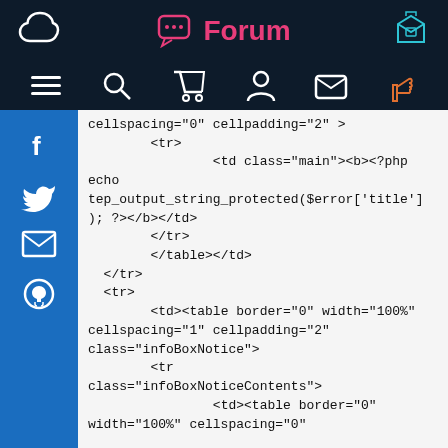Forum
cellspacing="0" cellpadding="2" >
        <tr>
                <td class="main"><b><?php echo
tep_output_string_protected($error['title']
); ?></b></td>
        </tr>
        </table></td>
  </tr>
  <tr>
        <td><table border="0" width="100%"
cellspacing="1" cellpadding="2"
class="infoBoxNotice">
        <tr
class="infoBoxNoticeContents">
                <td><table border="0"
width="100%" cellspacing="0"